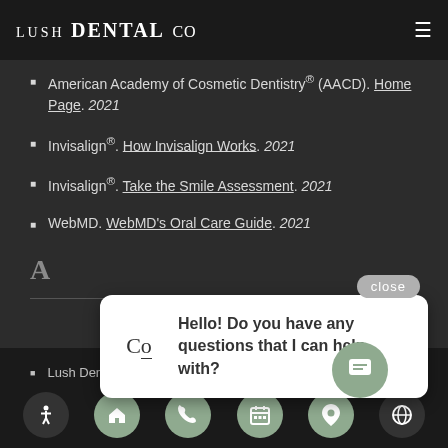LUSH DENTAL CO
American Academy of Cosmetic Dentistry® (AACD). Home Page. 2021
Invisalign®. How Invisalign Works. 2021
Invisalign®. Take the Smile Assessment. 2021
WebMD. WebMD's Oral Care Guide. 2021
[Figure (screenshot): Chat popup widget showing Co logo and message: Hello! Do you have any questions that I can help with?]
Lush Dental Co. was established in 201...